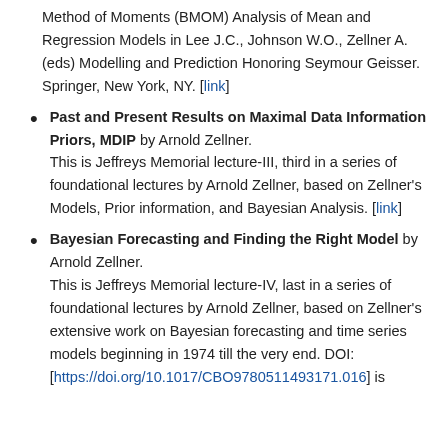Method of Moments (BMOM) Analysis of Mean and Regression Models in Lee J.C., Johnson W.O., Zellner A. (eds) Modelling and Prediction Honoring Seymour Geisser. Springer, New York, NY. [link]
Past and Present Results on Maximal Data Information Priors, MDIP by Arnold Zellner. This is Jeffreys Memorial lecture-III, third in a series of foundational lectures by Arnold Zellner, based on Zellner's Models, Prior information, and Bayesian Analysis. [link]
Bayesian Forecasting and Finding the Right Model by Arnold Zellner. This is Jeffreys Memorial lecture-IV, last in a series of foundational lectures by Arnold Zellner, based on Zellner's extensive work on Bayesian forecasting and time series models beginning in 1974 till the very end. DOI: [https://doi.org/10.1017/CBO9780511493171.016] is